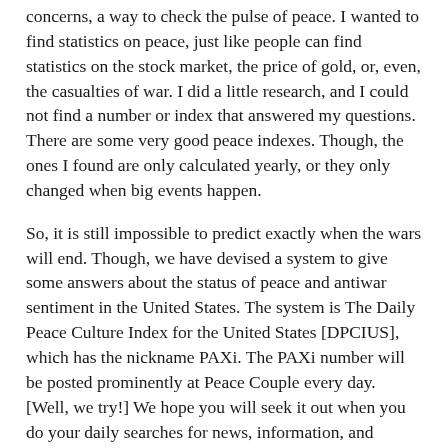concerns, a way to check the pulse of peace. I wanted to find statistics on peace, just like people can find statistics on the stock market, the price of gold, or, even, the casualties of war. I did a little research, and I could not find a number or index that answered my questions. There are some very good peace indexes. Though, the ones I found are only calculated yearly, or they only changed when big events happen.
So, it is still impossible to predict exactly when the wars will end. Though, we have devised a system to give some answers about the status of peace and antiwar sentiment in the United States. The system is The Daily Peace Culture Index for the United States [DPCIUS], which has the nickname PAXi. The PAXi number will be posted prominently at Peace Couple every day. [Well, we try!] We hope you will seek it out when you do your daily searches for news, information, and updates on the state of the world. Continue reading →